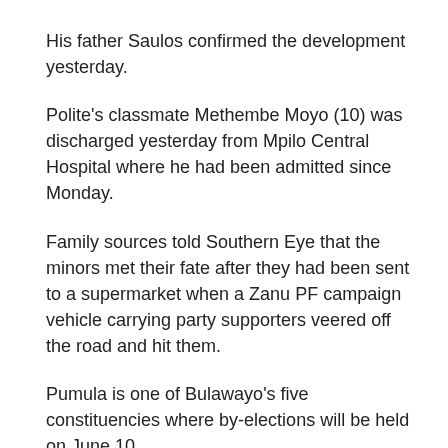His father Saulos confirmed the development yesterday.
Polite's classmate Methembe Moyo (10) was discharged yesterday from Mpilo Central Hospital where he had been admitted since Monday.
Family sources told Southern Eye that the minors met their fate after they had been sent to a supermarket when a Zanu PF campaign vehicle carrying party supporters veered off the road and hit them.
Pumula is one of Bulawayo's five constituencies where by-elections will be held on June 10.
In separate interviews yesterday, the boys' parents blasted Zanu PF officials in the city for failing to contribute towards